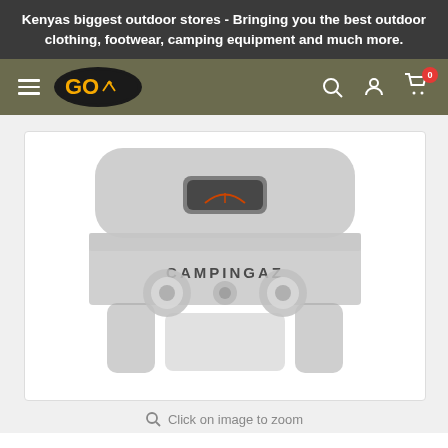Kenyas biggest outdoor stores - Bringing you the best outdoor clothing, footwear, camping equipment and much more.
[Figure (logo): GO outdoors logo in golden text on dark oval background with navigation icons including hamburger menu, search, account and cart with 0 badge]
[Figure (photo): Campingaz portable two-burner camping stove/grill shown in gray, front view with two control knobs, center ignition button, temperature gauge on lid, and CAMPINGAZ branding on the front panel]
Click on image to zoom